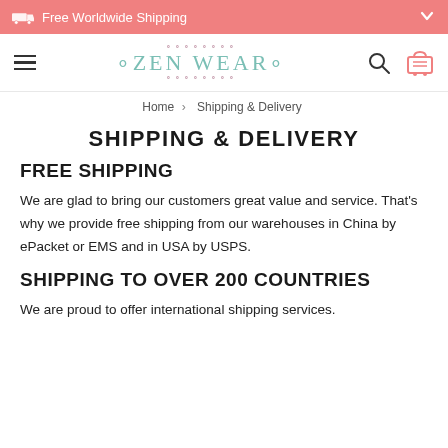Free Worldwide Shipping
[Figure (logo): ZEN WEAR logo with decorative serif text in teal/green color]
Home > Shipping & Delivery
SHIPPING & DELIVERY
FREE SHIPPING
We are glad to bring our customers great value and service. That's why we provide free shipping from our warehouses in China by ePacket or EMS and in USA by USPS.
SHIPPING TO OVER 200 COUNTRIES
We are proud to offer international shipping services.